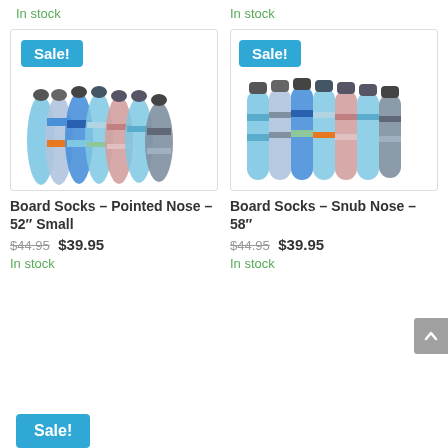In stock
In stock
[Figure (photo): Board Socks - Pointed Nose - 52 inch Small product image with Sale badge]
[Figure (photo): Board Socks - Snub Nose - 58 inch product image with Sale badge]
Board Socks – Pointed Nose – 52″ Small
Board Socks – Snub Nose – 58″
$44.95 $39.95
$44.95 $39.95
In stock
In stock
[Figure (photo): Sale badge at bottom of page]